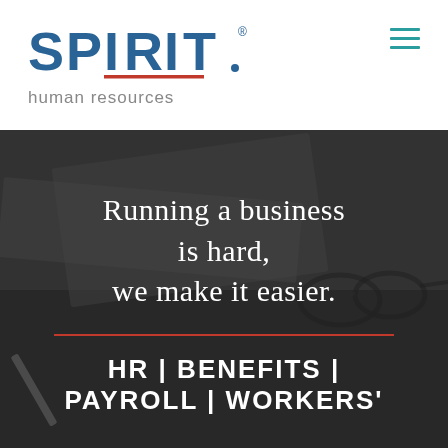[Figure (logo): Spirit Human Resources logo with teal SPIRIT text and red underline accent, with 'human resources' subtitle in gray]
[Figure (photo): Dark grayscale photo overlay of a business desk scene with glasses and papers, serving as hero background]
Running a business is hard, we make it easier.
HR | BENEFITS | PAYROLL | WORKERS'